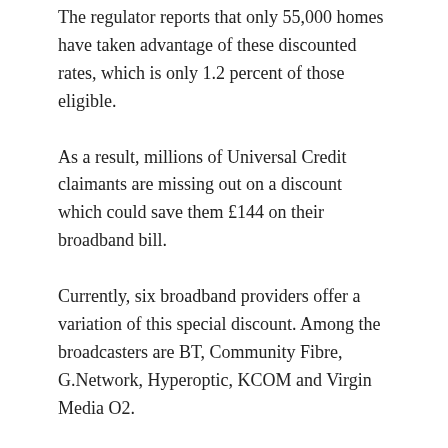The regulator reports that only 55,000 homes have taken advantage of these discounted rates, which is only 1.2 percent of those eligible.
As a result, millions of Universal Credit claimants are missing out on a discount which could save them £144 on their broadband bill.
Currently, six broadband providers offer a variation of this special discount. Among the broadcasters are BT, Community Fibre, G.Network, Hyperoptic, KCOM and Virgin Media O2.
In Ofgem's recent Affordability report, the regulator found that 1.1 million households are finding it difficult to pay for their home broadband service, which is around five percent of the population.